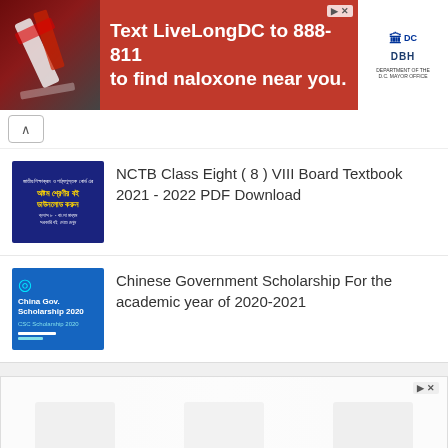[Figure (infographic): Red advertisement banner: 'Text LiveLongDC to 888-811 to find naloxone near you.' with DC and DBH logos on right, medical image on left.]
[Figure (infographic): Blue thumbnail for NCTB Class Eight Bengali textbook with Bengali text and yellow highlighted title]
NCTB Class Eight ( 8 ) VIII Board Textbook 2021 - 2022 PDF Download
[Figure (infographic): Blue thumbnail for China Gov. Scholarship 2020 with CSC Scholarship 2020 text and cyan icon]
Chinese Government Scholarship For the academic year of 2020-2021
[Figure (infographic): Bottom advertisement banner with faded content and scroll-to-top button]